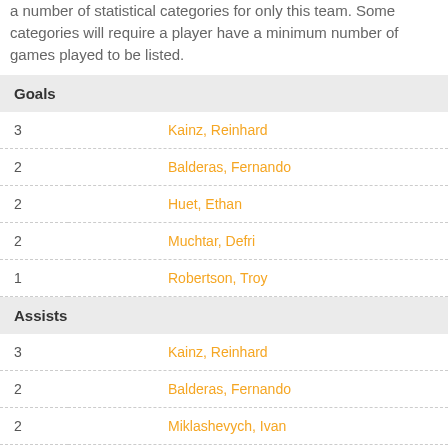a number of statistical categories for only this team. Some categories will require a player have a minimum number of games played to be listed.
| Goals |  |
| --- | --- |
| 3 | Kainz, Reinhard |
| 2 | Balderas, Fernando |
| 2 | Huet, Ethan |
| 2 | Muchtar, Defri |
| 1 | Robertson, Troy |
| Assists |  |
| --- | --- |
| 3 | Kainz, Reinhard |
| 2 | Balderas, Fernando |
| 2 | Miklashevych, Ivan |